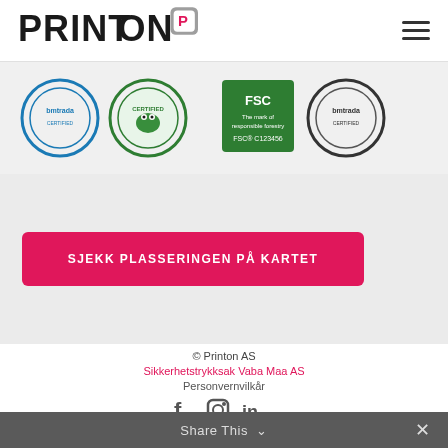[Figure (logo): Printon logo with stylized P in a rounded square]
[Figure (illustration): Four certification badge logos: bmtrada, Certified (green frog), FSC, bmtrada]
SJEKK PLASSERINGEN PÅ KARTET
© Printon AS
Sikkerhetstrykksak Vaba Maa AS
Personvernvilkår
[Figure (illustration): Social media icons: Facebook, Instagram, LinkedIn]
Share This ∨  ×